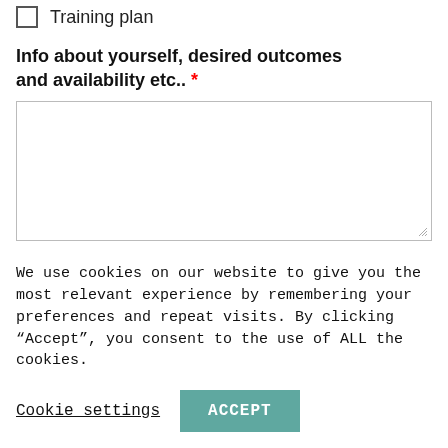Training plan
Info about yourself, desired outcomes and availability etc.. *
[text area input field]
Submit
We use cookies on our website to give you the most relevant experience by remembering your preferences and repeat visits. By clicking “Accept”, you consent to the use of ALL the cookies.
Cookie settings   ACCEPT